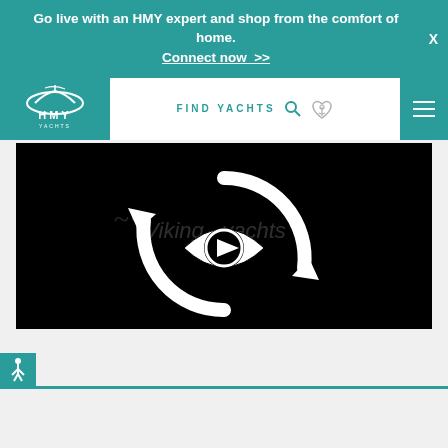Go live with an HMY expert and shop from the comfort of home. Connect now >>
[Figure (logo): HMY Yachts logo - white yacht/boat icon above HMY YACHTS text on teal background]
FIND YACHTS
[Figure (screenshot): Video player with black background showing a white circular arrow/refresh icon overlaid on an eye graphic with a play button in the center, and a watermark logo visible]
[Figure (other): Accessibility icon (wheelchair person) on teal button in bottom left corner]